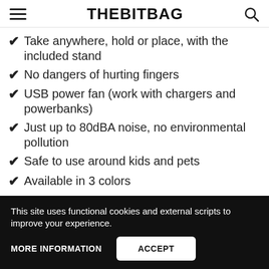THEBITBAG
Take anywhere, hold or place, with the included stand
No dangers of hurting fingers
USB power fan (work with chargers and powerbanks)
Just up to 80dBA noise, no environmental pollution
Safe to use around kids and pets
Available in 3 colors
This site uses functional cookies and external scripts to improve your experience.
MORE INFORMATION
ACCEPT